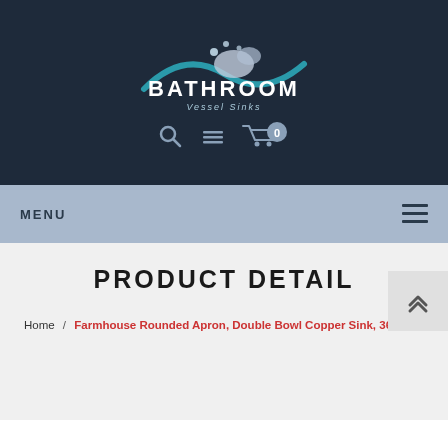[Figure (logo): Bathroom Vessel Sinks logo with teal wave and white splash graphic above text]
BATHROOM Vessel Sinks
[Figure (infographic): Navigation icons: search magnifying glass, hamburger menu, shopping cart with 0 badge]
MENU
PRODUCT DETAIL
Home / Farmhouse Rounded Apron, Double Bowl Copper Sink, 36x22x9